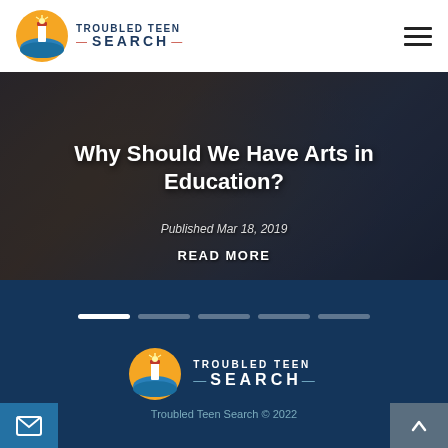TROUBLED TEEN SEARCH
[Figure (photo): Background photo of teenagers in a group setting, dark toned]
Why Should We Have Arts in Education?
Published Mar 18, 2019
READ MORE
[Figure (other): Carousel navigation dots — 5 dots, first one white/active, rest semi-transparent]
[Figure (logo): Troubled Teen Search footer logo with lighthouse icon]
Troubled Teen Search © 2022